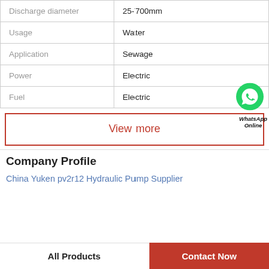| Property | Value |
| --- | --- |
| Discharge diameter | 25-700mm |
| Usage | Water |
| Application | Sewage |
| Power | Electric |
| Fuel | Electric |
View more
Company Profile
China Yuken pv2r12 Hydraulic Pump Supplier
All Products | Contact Now